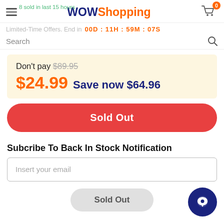WOWShopping — 8 sold in last 15 hours — Cart: 0
Limited-Time Offers. End in  00D : 11H : 59M : 07S
Search
Don't pay $89.95 — $24.99 Save now $64.96
Sold Out
Subcribe To Back In Stock Notification
Insert your email
Sold Out